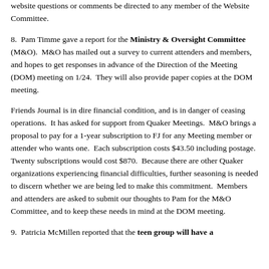website questions or comments be directed to any member of the Website Committee.
8.  Pam Timme gave a report for the Ministry & Oversight Committee (M&O).  M&O has mailed out a survey to current attenders and members, and hopes to get responses in advance of the Direction of the Meeting (DOM) meeting on 1/24.  They will also provide paper copies at the DOM meeting.
Friends Journal is in dire financial condition, and is in danger of ceasing operations.  It has asked for support from Quaker Meetings.  M&O brings a proposal to pay for a 1-year subscription to FJ for any Meeting member or attender who wants one.  Each subscription costs $43.50 including postage.  Twenty subscriptions would cost $870.  Because there are other Quaker organizations experiencing financial difficulties, further seasoning is needed to discern whether we are being led to make this commitment.  Members and attenders are asked to submit our thoughts to Pam for the M&O Committee, and to keep these needs in mind at the DOM meeting.
9.  Patricia McMillen reported that the teen group will have a